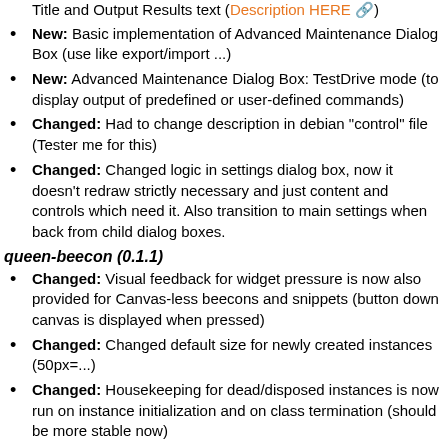New: Implemented Pango Markup Language support for both Title and Output Results text (Description HERE)
New: Basic implementation of Advanced Maintenance Dialog Box (use like export/import ...)
New: Advanced Maintenance Dialog Box: TestDrive mode (to display output of predefined or user-defined commands)
Changed: Had to change description in debian "control" file (Tester me for this)
Changed: Changed logic in settings dialog box, now it doesn't redraw strictly necessary and just content and controls which need it. Also transition to main settings when back from child dialog boxes.
queen-beecon (0.1.1)
Changed: Visual feedback for widget pressure is now also provided for Canvas-less beecons and snippets (button down canvas is displayed when pressed)
Changed: Changed default size for newly created instances (50px=...)
Changed: Housekeeping for dead/disposed instances is now run on instance initialization and on class termination (should be more stable now)
Bugfixing: Writing/Reading configuration file inconsistencies fixed
Bugfixing: Correction in images (status/results/title) hide/show